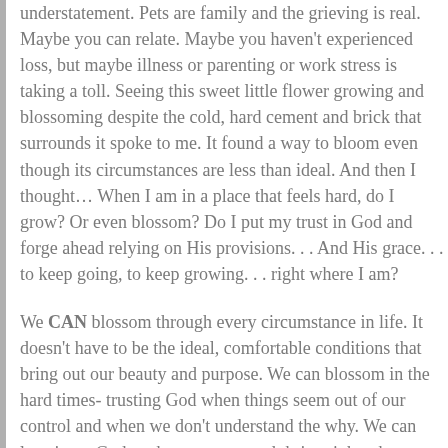understatement. Pets are family and the grieving is real. Maybe you can relate. Maybe you haven't experienced loss, but maybe illness or parenting or work stress is taking a toll. Seeing this sweet little flower growing and blossoming despite the cold, hard cement and brick that surrounds it spoke to me. It found a way to bloom even though its circumstances are less than ideal. And then I thought… When I am in a place that feels hard, do I grow? Or even blossom? Do I put my trust in God and forge ahead relying on His provisions. . . And His grace. . . to keep going, to keep growing. . . right where I am?
We CAN blossom through every circumstance in life. It doesn't have to be the ideal, comfortable conditions that bring out our beauty and purpose. We can blossom in the hard times- trusting God when things seem out of our control and when we don't understand the why. We can lean in on God so that we grow and thrive right where we are.